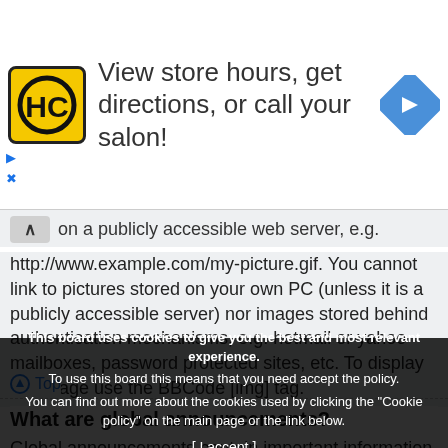[Figure (screenshot): Advertisement banner: HC logo (yellow background), text 'View store hours, get directions, or call your salon!', blue diamond navigation arrow icon]
on a publicly accessible web server, e.g. http://www.example.com/my-picture.gif. You cannot link to pictures stored on your own PC (unless it is a publicly accessible server) nor images stored behind authentication mechanisms, e.g. hotmail or yahoo mailboxes, password protected sites, etc. To display the image use the BBCode [img] tag.
Top
What are global announcements?
Global announcements contain important information and
This board uses cookies to give you the best and most relevant experience. To use this board this means that you need accept the policy. You can find out more about the cookies used by clicking the "Cookie policy" on the main page or the link below.
[ I accept ]